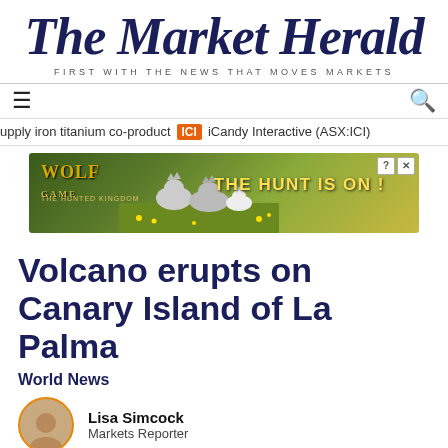The Market Herald
FIRST WITH THE NEWS THAT MOVES MARKETS
upply iron titanium co-product  ICI  iCandy Interactive (ASX:ICI)
[Figure (illustration): Advertisement banner for Wolf Game: The Hunted Kingdom — wolves in a field, text reads 'THE HUNT IS ON!']
Volcano erupts on Canary Island of La Palma
World News
Lisa Simcock
Markets Reporter